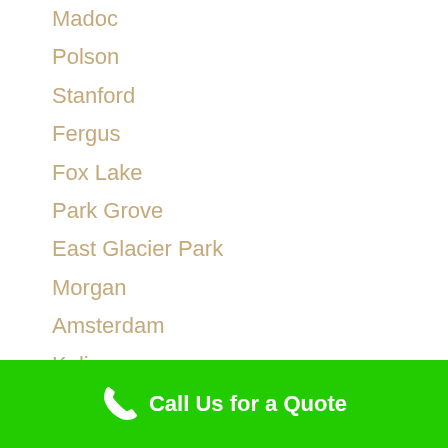Madoc
Polson
Stanford
Fergus
Fox Lake
Park Grove
East Glacier Park
Morgan
Amsterdam
Kolin
Brusett
Simpson
Call Us for a Quote